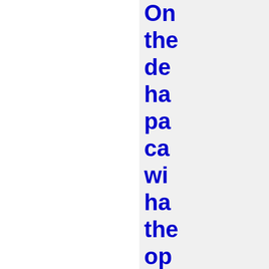On the de ha pa ca wi ha the op to en wi na he an an an qu ab the pr the ma ha